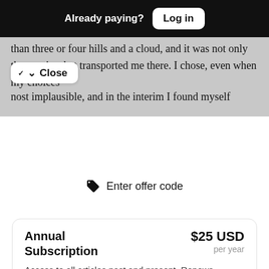Already paying? Log in
than three or four hills and a cloud, and it was not only the movies that transported me there. I chose, even when my choices host implausible, and in the interim I found myself
Close
Enter offer code
| Annual Subscription | $25 USD per year |
| --- | --- |
| Access to all articles past and present. Renews annually. |  |